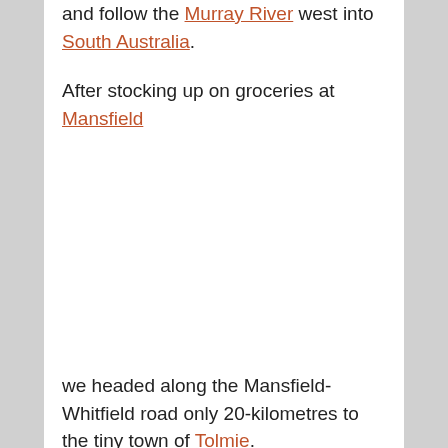and follow the Murray River west into South Australia.
After stocking up on groceries at Mansfield we headed along the Mansfield-Whitfield road only 20-kilometres to the tiny town of Tolmie.
We passed through rolling, dry pastures peppered with native gums before the grazing land...